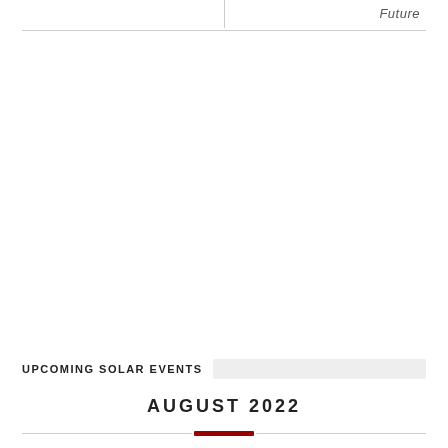Future
UPCOMING SOLAR EVENTS
AUGUST 2022